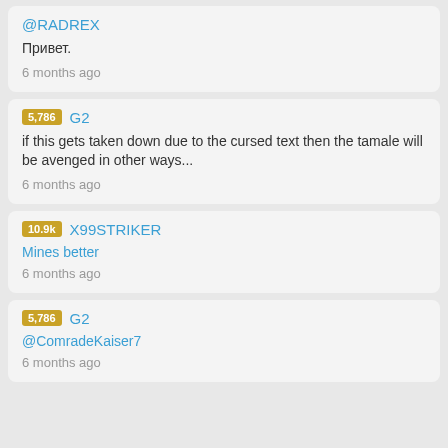@RADREX
Привет.
6 months ago
5,786 G2
if this gets taken down due to the cursed text then the tamale will be avenged in other ways...
6 months ago
10.9k X99STRIKER
Mines better
6 months ago
5,786 G2
@ComradeKaiser7
6 months ago